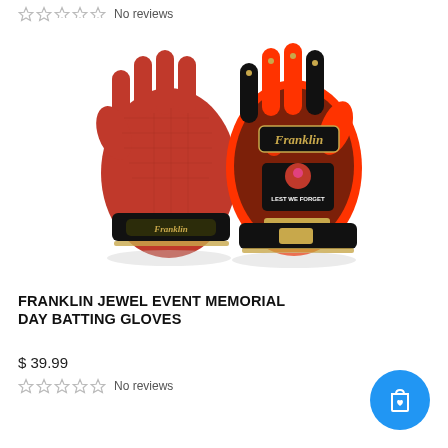[Figure (photo): Franklin Jewel Event Memorial Day Batting Gloves product photo showing two batting gloves — one showing red mesh palm side (left) and one showing back side with red floral pattern, black and gold accents, Franklin script logo, and Lest We Forget memorial poppy emblem]
FRANKLIN JEWEL EVENT MEMORIAL DAY BATTING GLOVES
$ 39.99
No reviews